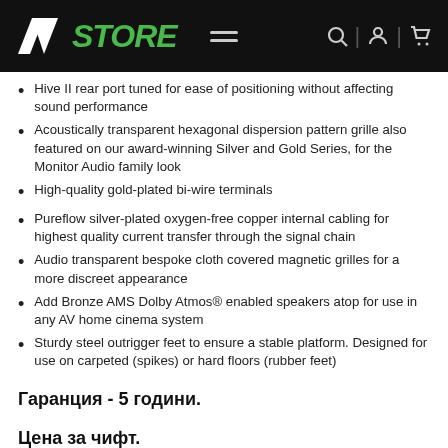AV STORE
Hive II rear port tuned for ease of positioning without affecting sound performance
Acoustically transparent hexagonal dispersion pattern grille also featured on our award-winning Silver and Gold Series, for the Monitor Audio family look
High-quality gold-plated bi-wire terminals
Pureflow silver-plated oxygen-free copper internal cabling for highest quality current transfer through the signal chain
Audio transparent bespoke cloth covered magnetic grilles for a more discreet appearance
Add Bronze AMS Dolby Atmos® enabled speakers atop for use in any AV home cinema system
Sturdy steel outrigger feet to ensure a stable platform. Designed for use on carpeted (spikes) or hard floors (rubber feet)
Гаранция - 5 години.
Цена за чифт.